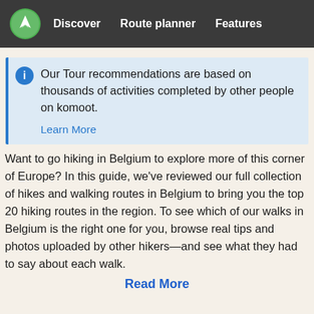Discover   Route planner   Features
Our Tour recommendations are based on thousands of activities completed by other people on komoot.
Learn More
Want to go hiking in Belgium to explore more of this corner of Europe? In this guide, we've reviewed our full collection of hikes and walking routes in Belgium to bring you the top 20 hiking routes in the region. To see which of our walks in Belgium is the right one for you, browse real tips and photos uploaded by other hikers—and see what they had to say about each walk.
Read More